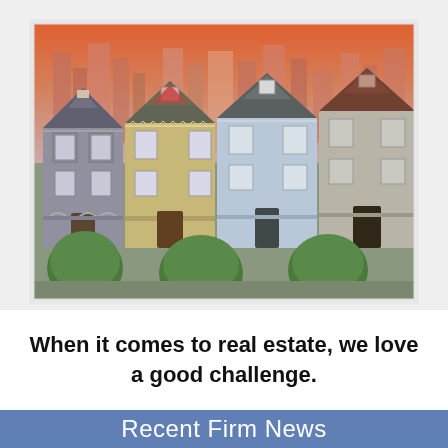[Figure (photo): Photograph of Victorian-style row houses (Painted Ladies style) in San Francisco with a city skyline of modern buildings visible in the background, green rounded shrubs in the foreground, taken at dusk or evening with warm orange/pink sky tones.]
When it comes to real estate, we love a good challenge.
Recent Firm News